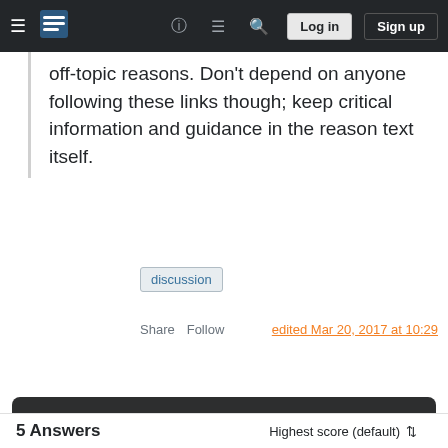Stack Exchange navigation bar with logo, help, chat, search, Log in, Sign up
off-topic reasons. Don't depend on anyone following these links though; keep critical information and guidance in the reason text itself.
discussion
Share   Follow   edited Mar 20, 2017 at 10:29
Your privacy
By clicking "Accept all cookies", you agree Stack Exchange can store cookies on your device and disclose information in accordance with our Cookie Policy.
Accept all cookies   Customize settings
5 Answers   Highest score (default)